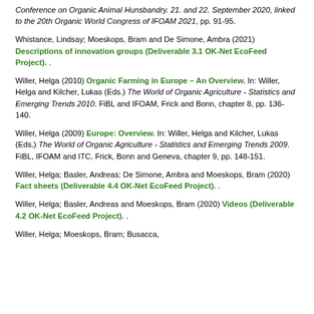Conference on Organic Animal Hunsbandry. 21. and 22. September 2020, linked to the 20th Organic World Congress of IFOAM 2021, pp. 91-95.
Whistance, Lindsay; Moeskops, Bram and De Simone, Ambra (2021) Descriptions of innovation groups (Deliverable 3.1 OK-Net EcoFeed Project). .
Willer, Helga (2010) Organic Farming in Europe – An Overview. In: Willer, Helga and Kilcher, Lukas (Eds.) The World of Organic Agriculture - Statistics and Emerging Trends 2010. FiBL and IFOAM, Frick and Bonn, chapter 8, pp. 136-140.
Willer, Helga (2009) Europe: Overview. In: Willer, Helga and Kilcher, Lukas (Eds.) The World of Organic Agriculture - Statistics and Emerging Trends 2009. FiBL, IFOAM and ITC, Frick, Bonn and Geneva, chapter 9, pp. 148-151.
Willer, Helga; Basler, Andreas; De Simone, Ambra and Moeskops, Bram (2020) Fact sheets (Deliverable 4.4 OK-Net EcoFeed Project). .
Willer, Helga; Basler, Andreas and Moeskops, Bram (2020) Videos (Deliverable 4.2 OK-Net EcoFeed Project). .
Willer, Helga; Moeskops, Bram; Busacca,